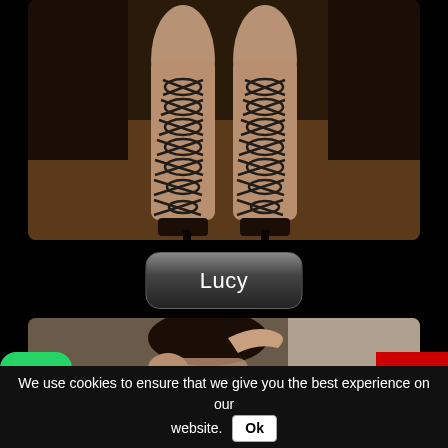[Figure (photo): Close-up photograph of legs wearing black lace-up high heel shoes/boots with criss-cross straps running up the legs, against a brown floor background.]
Lucy
[Figure (photo): Partial photograph of a woman with dark hair posing with hands raised, cropped showing upper body against a light background.]
[Figure (logo): WhatsApp logo icon - white phone handset on green rounded square background.]
[Figure (other): Scroll-to-top button - white upward chevron on red square background.]
We use cookies to ensure that we give you the best experience on our website. Ok